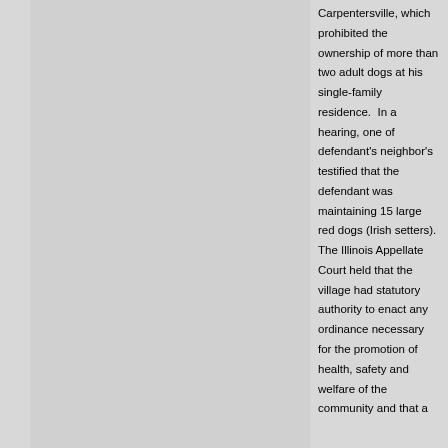Carpentersville, which prohibited the ownership of more than two adult dogs at his single-family residence.  In a hearing, one of defendant's neighbor's testified that the defendant was maintaining 15 large red dogs (Irish setters).  The Illinois Appellate Court held that the village had statutory authority to enact any ordinance necessary for the promotion of health, safety and welfare of the community and that a